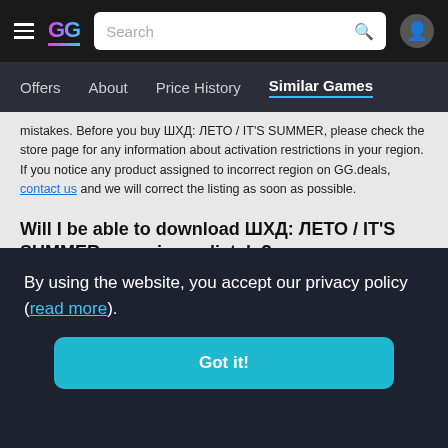GG.deals navigation header with hamburger menu, GG logo, search bar, and user icon
Offers  About  Price History  Similar Games
mistakes. Before you buy ШХД: ЛЕТО / IT'S SUMMER, please check the store page for any information about activation restrictions in your region. If you notice any product assigned to incorrect region on GG.deals, contact us and we will correct the listing as soon as possible.
Will I be able to download ШХД: ЛЕТО / IT'S SUMMER game immediately?
All shops featured on GG.deals will deliver your game immediately after the payment has been approved. This will be either in the form of direct download or PC key - depending on the store of your choice. After you activate key on a corresponding platform, you will be able to download and play your game for
[Figure (screenshot): Cookie consent banner overlay: 'By using the website, you accept our privacy policy (read more).' with a 'Got it!' button]